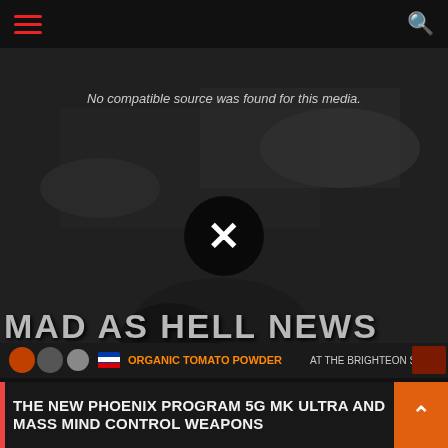Navigation header with hamburger menu and search icon
[Figure (screenshot): Video player area showing 'No compatible source was found for this media.' message with a dark background showing blurred vintage street scene imagery, 'MAD AS HELL NEWS' title overlay at bottom, and an X close button in center]
[Figure (other): Advertisement banner: ORGANIC TOMATO POWDER AT THE BRIGHTEON STORE]
THE NEW PHOENIX PROGRAM 5G MK ULTRA AND MASS MIND CONTROL WEAPONS
THE NEW PHOENIX PROGRAM 5G MK ULTRA AND MAS No compatible source was found for this media.